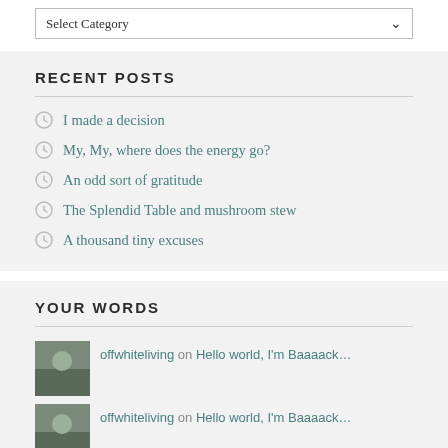[Figure (screenshot): Select Category dropdown box]
RECENT POSTS
I made a decision
My, My, where does the energy go?
An odd sort of gratitude
The Splendid Table and mushroom stew
A thousand tiny excuses
YOUR WORDS
offwhiteliving on Hello world, I'm Baaaack…
offwhiteliving on Hello world, I'm Baaaack…